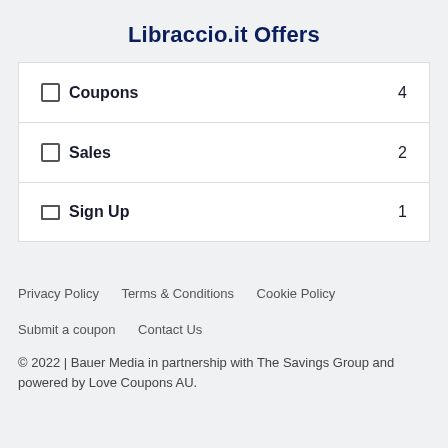Libraccio.it Offers
Coupons  4
Sales  2
Sign Up  1
Privacy Policy    Terms & Conditions    Cookie Policy    Submit a coupon    Contact Us
© 2022 | Bauer Media in partnership with The Savings Group and powered by Love Coupons AU.